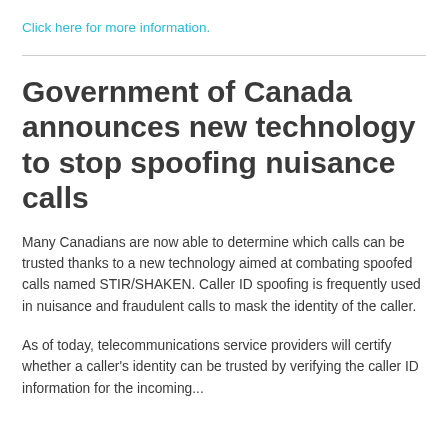Click here for more information.
Government of Canada announces new technology to stop spoofing nuisance calls
Many Canadians are now able to determine which calls can be trusted thanks to a new technology aimed at combating spoofed calls named STIR/SHAKEN. Caller ID spoofing is frequently used in nuisance and fraudulent calls to mask the identity of the caller.
As of today, telecommunications service providers will certify whether a caller's identity can be trusted by verifying the caller ID information for the incoming...